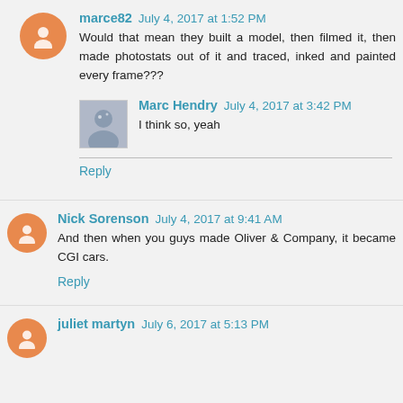marce82 — July 4, 2017 at 1:52 PM
Would that mean they built a model, then filmed it, then made photostats out of it and traced, inked and painted every frame???
Marc Hendry — July 4, 2017 at 3:42 PM
I think so, yeah
Reply
Nick Sorenson — July 4, 2017 at 9:41 AM
And then when you guys made Oliver & Company, it became CGI cars.
Reply
juliet martyn — July 6, 2017 at 5:13 PM